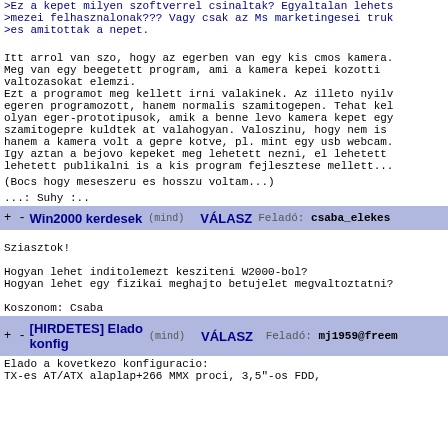>Ez a kepet milyen szoftverrel csinaltak? Egyaltalan lehets
>mezei felhasznalonak??? Vagy csak az Ms marketingesei truk
>es amitottak a nepet.
Itt arrol van szo, hogy az egerben van egy kis cmos kamera.
Meg van egy beegetett program, ami a kamera kepei kozotti
valtozasokat elemzi.
Ezt a programot meg kellett irni valakinek. Az illeto nyilv
egeren programozott, hanem normalis szamitogepen. Tehat kel
olyan eger-prototipusok, amik a benne levo kamera kepet egy
szamitogepre kuldtek at valahogyan. Valoszinu, hogy nem is
hanem a kamera volt a gepre kotve, pl. mint egy usb webcam.
Igy aztan a bejovo kepeket meg lehetett nezni, el lehetett
lehetett publikalni is a kis program fejlesztese mellett...
(Bocs hogy meseszeru es hosszu voltam...)
...: Suhy :..
Win2000 kerdesek (mind)   VALASZ  Felado: csaba_elekes
Sziasztok!

Hogyan lehet inditolemezt kesziteni W2000-bol?
Hogyan lehet egy fizikai meghajto betujelet megvaltoztatni?

Koszonom: Csaba
[HIRDETES] Elado konfig (mind)   VALASZ  Felado: mj1959@freem
Elado a kovetkezo konfiguracio:
TX-es AT/ATX alaplap+266 MMX proci, 3,5"-os FDD,